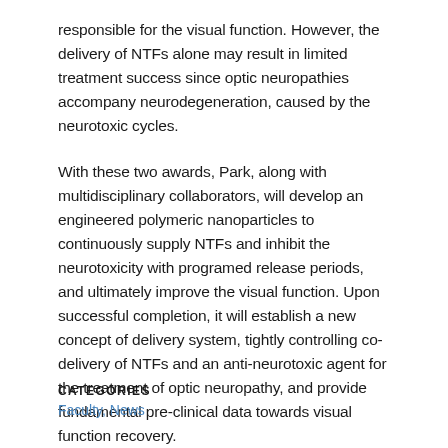responsible for the visual function. However, the delivery of NTFs alone may result in limited treatment success since optic neuropathies accompany neurodegeneration, caused by the neurotoxic cycles.
With these two awards, Park, along with multidisciplinary collaborators, will develop an engineered polymeric nanoparticles to continuously supply NTFs and inhibit the neurotoxicity with programed release periods, and ultimately improve the visual function. Upon successful completion, it will establish a new concept of delivery system, tightly controlling co-delivery of NTFs and an anti-neurotoxic agent for the treatment of optic neuropathy, and provide fundamental pre-clinical data towards visual function recovery.
CATEGORIES
Faculty, News